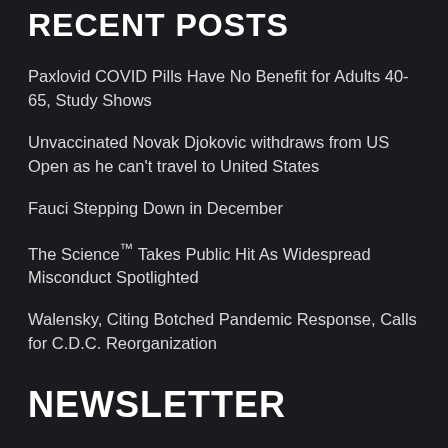RECENT POSTS
Paxlovid COVID Pills Have No Benefit for Adults 40-65, Study Shows
Unvaccinated Novak Djokovic withdraws from US Open as he can't travel to United States
Fauci Stepping Down in December
The Science™ Takes Public Hit As Widespread Misconduct Spotlighted
Walensky, Citing Botched Pandemic Response, Calls for C.D.C. Reorganization
NEWSLETTER